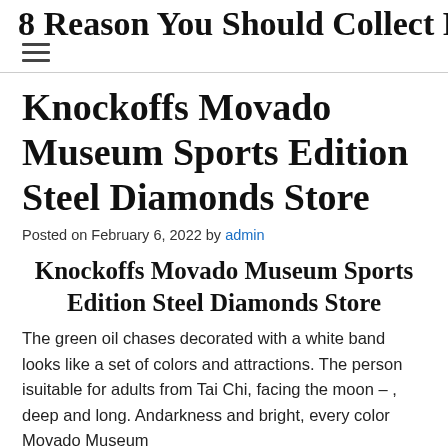8 Reason You Should Collect Rol...
Knockoffs Movado Museum Sports Edition Steel Diamonds Store
Posted on February 6, 2022 by admin
Knockoffs Movado Museum Sports Edition Steel Diamonds Store
The green oil chases decorated with a white band looks like a set of colors and attractions. The person isuitable for adults from Tai Chi, facing the moon – , deep and long. Andarkness and bright, every color Movado Museum